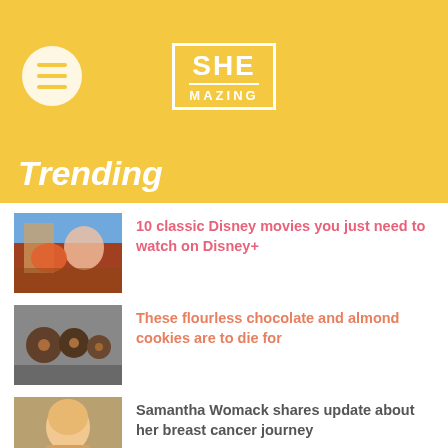SHE MAZING
Trending
[Figure (photo): Animated Disney characters scene]
10 classic Disney movies you just need to watch on Disney+
[Figure (photo): Flourless chocolate and almond cookies close-up]
These flourless chocolate and almond cookies are to die for
[Figure (photo): Portrait of Samantha Womack, blonde woman outdoors]
Samantha Womack shares update about her breast cancer journey
[Figure (photo): Portrait of Lottie Tomlinson, blonde woman in urban setting]
Lottie Tomlinson reveals unusual name for her first child
[Figure (photo): Partially visible image at bottom]